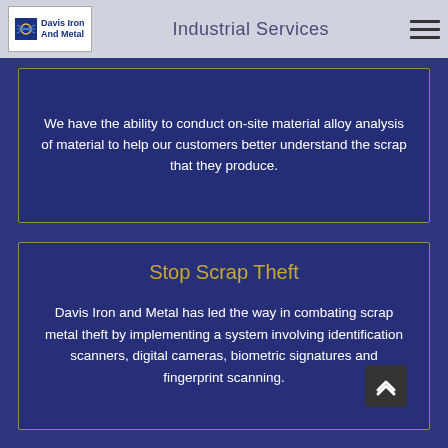Industrial Services
We have the ability to conduct on-site material alloy analysis of material to help our customers better understand the scrap that they produce.
Stop Scrap Theft
Davis Iron and Metal has led the way in combating scrap metal theft by implementing a system involving identification scanners, digital cameras, biometric signatures and fingerprint scanning.